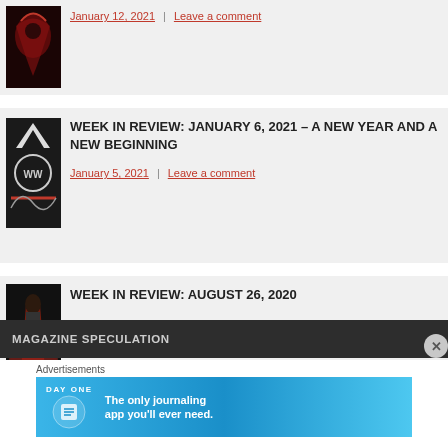[Figure (illustration): Partial comic book cover thumbnail showing red/dark art, top of page card]
January 12, 2021 | Leave a comment
[Figure (illustration): Comic book thumbnail - Wonder Woman style black and white cover]
WEEK IN REVIEW: JANUARY 6, 2021 – A NEW YEAR AND A NEW BEGINNING
January 5, 2021 | Leave a comment
[Figure (illustration): Comic book thumbnail - dark figure in red cape]
WEEK IN REVIEW: AUGUST 26, 2020
August 25, 2020 | 4 comments
MAGAZINE SPECULATION
Advertisements
[Figure (illustration): DAY ONE app advertisement banner - The only journaling app you'll ever need.]